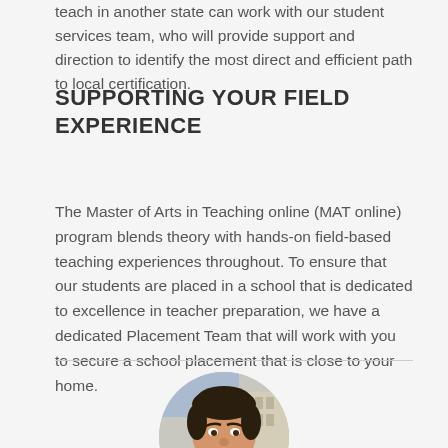teach in another state can work with our student services team, who will provide support and direction to identify the most direct and efficient path to local certification.
SUPPORTING YOUR FIELD EXPERIENCE
The Master of Arts in Teaching online (MAT online) program blends theory with hands-on field-based teaching experiences throughout. To ensure that our students are placed in a school that is dedicated to excellence in teacher preparation, we have a dedicated Placement Team that will work with you to secure a school placement that is close to your home.
[Figure (photo): Circular headshot photo of a young man with dark curly hair, smiling, wearing a blue shirt, with an urban building background]